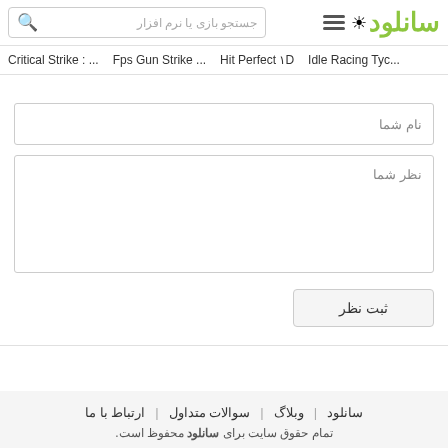سانلود - جستجو بازی یا نرم افزار
Critical Strike : ... | Fps Gun Strike ... | Hit Perfect 3D | Idle Racing Tyc...
نام شما
نظر شما
ثبت نظر
سانلود | وبلاگ | سوالات متداول | ارتباط با ما
تمام حقوق سایت برای سانلود محفوظ است.